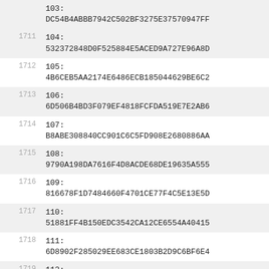103: DC54B4ABBB7942C502BF3275E37570947FF
1711  104: 532372848D0F525884E5ACED9A727E96A8D
1712  105: 4B6CEB5AA2174E6486ECB185044629BE6C2
1713  106: 6D506B4BD3F079EF4818FCFDA519E7E2AB6
1714  107: B8ABE308840CC901C6C5FD908E2680886AA
1715  108: 9790A198DA7616F4D8ACDE68DE19635A555
1716  109: 816678F1D7484660F4701CE77F4C5E13E5D
1717  110: 51881FF4B150EDC3542CA12CE6554A40415
1718  111: 6D8902F285029EE683CE1803B2D9C6BF6E4
1719  112: 06E5847A060BBC4FCE1375DCC15AEAFBF51
1720  113: